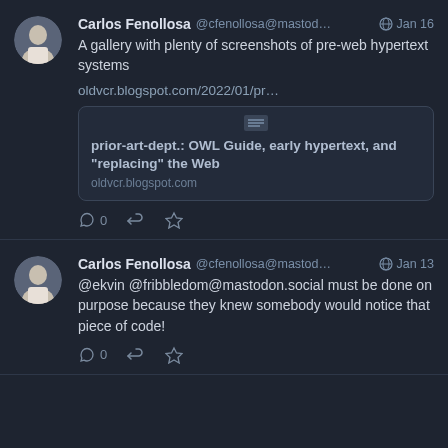[Figure (screenshot): Mastodon social media feed showing two posts by Carlos Fenollosa (@cfenollosa@mastodon). First post dated Jan 16 about a gallery of pre-web hypertext system screenshots with a link preview. Second post dated Jan 13 replying to @ekvin @fribbledom@mastodon.social about code.]
Carlos Fenollosa @cfenollosa@mastod... Jan 16
A gallery with plenty of screenshots of pre-web hypertext systems

oldvcr.blogspot.com/2022/01/pr…

prior-art-dept.: OWL Guide, early hypertext, and "replacing" the Web
oldvcr.blogspot.com
Carlos Fenollosa @cfenollosa@mastod... Jan 13
@ekvin @fribbledom@mastodon.social must be done on purpose because they knew somebody would notice that piece of code!